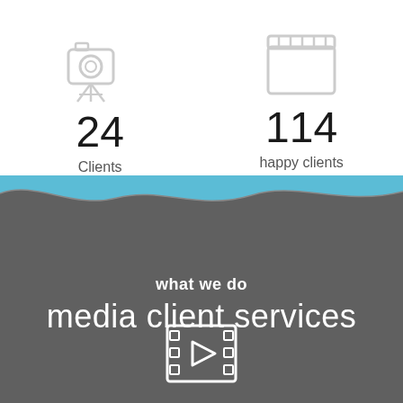[Figure (infographic): Camera icon with stat: 24 Clients]
[Figure (infographic): Film clapper icon with stat: 114 happy clients]
[Figure (illustration): Wave divider separating white top and dark grey bottom sections, with light blue wave top]
what we do
media client services
[Figure (illustration): Film/video play icon in white outline style]